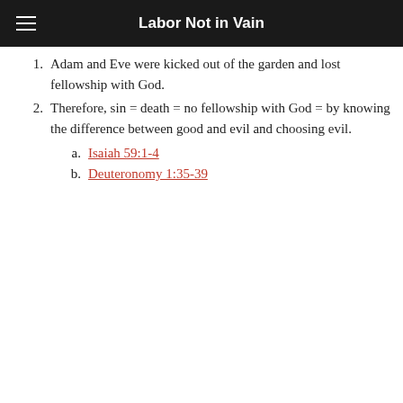Labor Not in Vain
Adam and Eve were kicked out of the garden and lost fellowship with God.
Therefore, sin = death = no fellowship with God = by knowing the difference between good and evil and choosing evil.
a. Isaiah 59:1-4
b. Deuteronomy 1:35-39